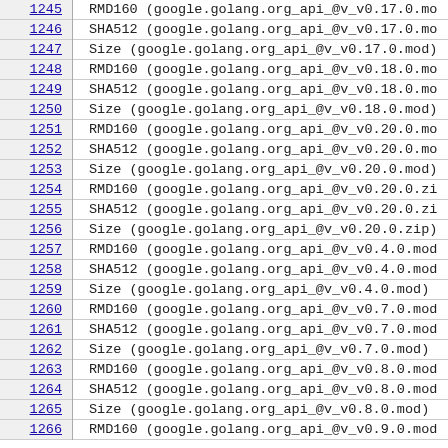| Line | Content |
| --- | --- |
| 1245 | RMD160 (google.golang.org_api_@v_v0.17.0.mo |
| 1246 | SHA512 (google.golang.org_api_@v_v0.17.0.mo |
| 1247 | Size (google.golang.org_api_@v_v0.17.0.mod) |
| 1248 | RMD160 (google.golang.org_api_@v_v0.18.0.mo |
| 1249 | SHA512 (google.golang.org_api_@v_v0.18.0.mo |
| 1250 | Size (google.golang.org_api_@v_v0.18.0.mod) |
| 1251 | RMD160 (google.golang.org_api_@v_v0.20.0.mo |
| 1252 | SHA512 (google.golang.org_api_@v_v0.20.0.mo |
| 1253 | Size (google.golang.org_api_@v_v0.20.0.mod) |
| 1254 | RMD160 (google.golang.org_api_@v_v0.20.0.zi |
| 1255 | SHA512 (google.golang.org_api_@v_v0.20.0.zi |
| 1256 | Size (google.golang.org_api_@v_v0.20.0.zip) |
| 1257 | RMD160 (google.golang.org_api_@v_v0.4.0.mod |
| 1258 | SHA512 (google.golang.org_api_@v_v0.4.0.mod |
| 1259 | Size (google.golang.org_api_@v_v0.4.0.mod) |
| 1260 | RMD160 (google.golang.org_api_@v_v0.7.0.mod |
| 1261 | SHA512 (google.golang.org_api_@v_v0.7.0.mod |
| 1262 | Size (google.golang.org_api_@v_v0.7.0.mod) |
| 1263 | RMD160 (google.golang.org_api_@v_v0.8.0.mod |
| 1264 | SHA512 (google.golang.org_api_@v_v0.8.0.mod |
| 1265 | Size (google.golang.org_api_@v_v0.8.0.mod) |
| 1266 | RMD160 (google.golang.org_api_@v_v0.9.0.mod |